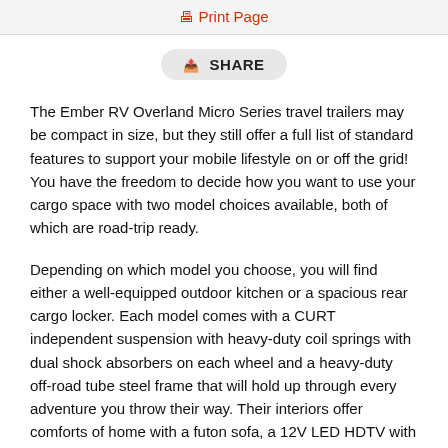🖨 Print Page
SHARE
The Ember RV Overland Micro Series travel trailers may be compact in size, but they still offer a full list of standard features to support your mobile lifestyle on or off the grid! You have the freedom to decide how you want to use your cargo space with two model choices available, both of which are road-trip ready.
Depending on which model you choose, you will find either a well-equipped outdoor kitchen or a spacious rear cargo locker. Each model comes with a CURT independent suspension with heavy-duty coil springs with dual shock absorbers on each wheel and a heavy-duty off-road tube steel frame that will hold up through every adventure you throw their way. Their interiors offer comforts of home with a futon sofa, a 12V LED HDTV with a built-in Bluetooth soundbar AV system, and Shaw flooring for easy clean ups!
Answer the beckoning call of the wild with an Ember RV Overland